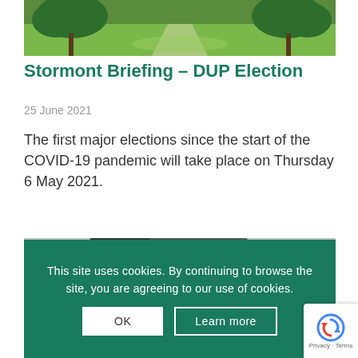[Figure (photo): Landscape photo showing green trees and a path through a park or garden]
Stormont Briefing – DUP Election
25 June 2021
The first major elections since the start of the COVID-19 pandemic will take place on Thursday 6 May 2021.
[Figure (photo): Partial photo partially obscured by cookie consent banner]
This site uses cookies. By continuing to browse the site, you are agreeing to our use of cookies.